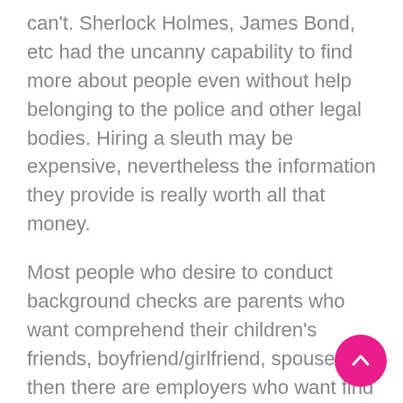can't. Sherlock Holmes, James Bond, etc had the uncanny capability to find more about people even without help belonging to the police and other legal bodies. Hiring a sleuth may be expensive, nevertheless the information they provide is really worth all that money.
Most people who desire to conduct background checks are parents who want comprehend their children's friends, boyfriend/girlfriend, spouses, then there are employers who want find out more about the capabilities of their potential uses. No one wants to be associated with an agent who has a criminal background or perhaps famous for the vices in his/her character, and so on. So these methods of checking on people can be beneficial and will help in building trust.